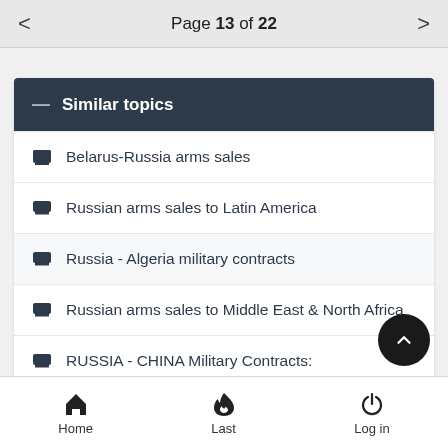Page 13 of 22
Similar topics
Belarus-Russia arms sales
Russian arms sales to Latin America
Russia - Algeria military contracts
Russian arms sales to Middle East & North Africa
RUSSIA - CHINA Military Contracts:
Home  Last  Log in